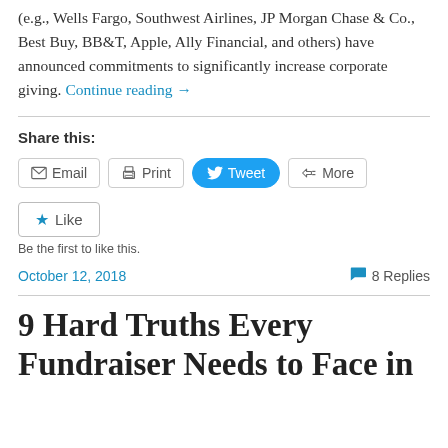(e.g., Wells Fargo, Southwest Airlines, JP Morgan Chase & Co., Best Buy, BB&T, Apple, Ally Financial, and others) have announced commitments to significantly increase corporate giving. Continue reading →
Share this:
Email  Print  Tweet  More
Like
Be the first to like this.
October 12, 2018   8 Replies
9 Hard Truths Every Fundraiser Needs to Face in